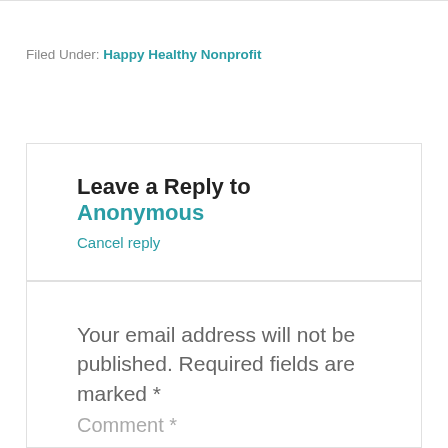Filed Under: Happy Healthy Nonprofit
Leave a Reply to Anonymous
Cancel reply
Your email address will not be published. Required fields are marked *
Comment *